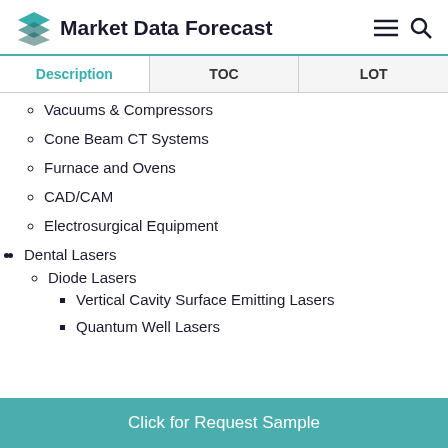Market Data Forecast
| Description | TOC | LOT |
| --- | --- | --- |
Vacuums & Compressors
Cone Beam CT Systems
Furnace and Ovens
CAD/CAM
Electrosurgical Equipment
Dental Lasers
Diode Lasers
Vertical Cavity Surface Emitting Lasers
Quantum Well Lasers
Vertical External Cavity Surface Emitting
Click for Request Sample